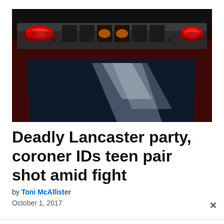[Figure (photo): Close-up photo of a red emergency vehicle with a light bar on top showing red and amber lights illuminated against a dark background. The windshield and hood of the vehicle are visible.]
Deadly Lancaster party, coroner IDs teen pair shot amid fight
by Toni McAllister
October 1, 2017